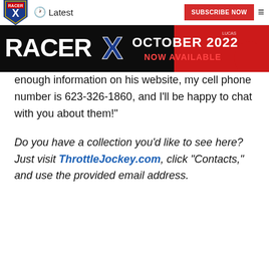Racer X | Latest | SUBSCRIBE NOW
[Figure (screenshot): Racer X banner advertisement for October 2022 issue - Now Available, with motocross rider on red background]
enough information on his website, my cell phone number is 623-326-1860, and I'll be happy to chat with you about them!"
Do you have a collection you'd like to see here? Just visit ThrottleJockey.com, click "Contacts," and use the provided email address.